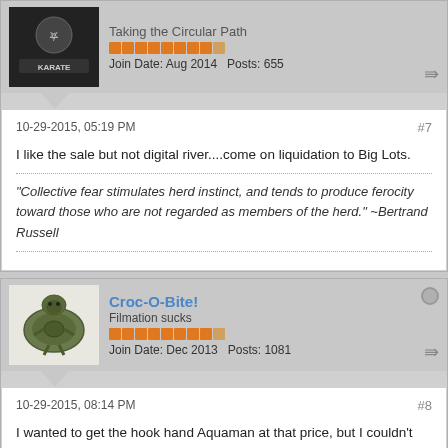Taking the Circular Path
Join Date: Aug 2014   Posts: 655
10-29-2015, 05:19 PM
#7
I like the sale but not digital river....come on liquidation to Big Lots.
“Collective fear stimulates herd instinct, and tends to produce ferocity toward those who are not regarded as members of the herd.” ~Bertrand Russell
Croc-O-Bite!
Filmation sucks
Join Date: Dec 2013   Posts: 1081
10-29-2015, 08:14 PM
#8
I wanted to get the hook hand Aquaman at that price, but I couldn't justify the shipping on just one figure and there weren't any other figures I wanted.